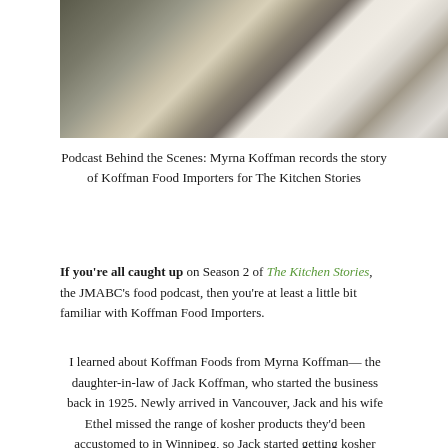[Figure (photo): Interior scene showing a living room/dining area with white curved armchairs in foreground, dark dining chairs and table in background, large windows, and a person seated at the table reading or working.]
Podcast Behind the Scenes: Myrna Koffman records the story of Koffman Food Importers for The Kitchen Stories
If you're all caught up on Season 2 of The Kitchen Stories, the JMABC's food podcast, then you're at least a little bit familiar with Koffman Food Importers.
I learned about Koffman Foods from Myrna Koffman—the daughter-in-law of Jack Koffman, who started the business back in 1925. Newly arrived in Vancouver, Jack and his wife Ethel missed the range of kosher products they'd been accustomed to in Winnipeg, so Jack started getting kosher foods shipped to their house. From there, he distributed them to friends and